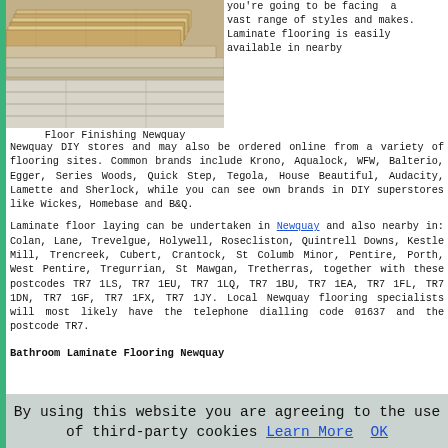[Figure (photo): Stack of laminate flooring planks on a light wood surface]
Floor Finishing Newquay
you're going to be facing a vast range of styles and makes. Laminate flooring is easily available in nearby Newquay DIY stores and may also be ordered online from a variety of flooring sites. Common brands include Krono, Aqualock, WFW, Balterio, Egger, Series Woods, Quick Step, Tegola, House Beautiful, Audacity, Lamette and Sherlock, while you can see own brands in DIY superstores like Wickes, Homebase and B&Q.
Laminate floor laying can be undertaken in Newquay and also nearby in: Colan, Lane, Trevelgue, Holywell, Rosecliston, Quintrell Downs, Kestle Mill, Trencreek, Cubert, Crantock, St Columb Minor, Pentire, Porth, West Pentire, Tregurrian, St Mawgan, Tretherras, together with these postcodes TR7 1LS, TR7 1EU, TR7 1LQ, TR7 1BU, TR7 1EA, TR7 1FL, TR7 1DN, TR7 1GF, TR7 1FX, TR7 1JY. Local Newquay flooring specialists will most likely have the telephone dialling code 01637 and the postcode TR7.
Bathroom Laminate Flooring Newquay
By using this website you are agreeing to the use of third-party cookies Learn More OK